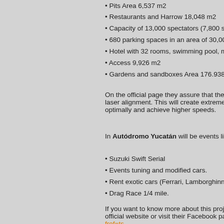• Pits Area 6,537 m2
• Restaurants and Harrow 18,048 m2
• Capacity of 13,000 spectators (7,800 sea…
• 680 parking spaces in an area of 30,000 m…
• Hotel with 32 rooms, swimming pool, mult…
• Access 9,926 m2
• Gardens and sandboxes Area 176.938 m…
On the official page they assure that the tra… laser alignment. This will create extremely s… optimally and achieve higher speeds.
In Autódromo Yucatán will be events like:
• Suzuki Swift Serial
• Events tuning and modified cars.
• Rent exotic cars (Ferrari, Lamborghinni, C…
• Drag Race 1/4 mile.
If you want to know more about this project… official website or visit their Facebook page… fref=ts